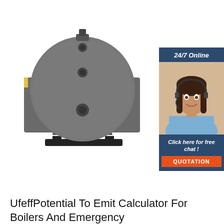[Figure (photo): Front view of an industrial boiler/welding positioner equipment, dark gray cylindrical drum mounted on a metal stand with side panels, photographed on white background]
[Figure (infographic): Advertisement panel with dark navy background showing '24/7 Online' text, a photo of a smiling woman with a headset, text 'Click here for free chat!' and an orange button labeled 'QUOTATION']
UfeffPotential To Emit Calculator For Boilers And Emergency